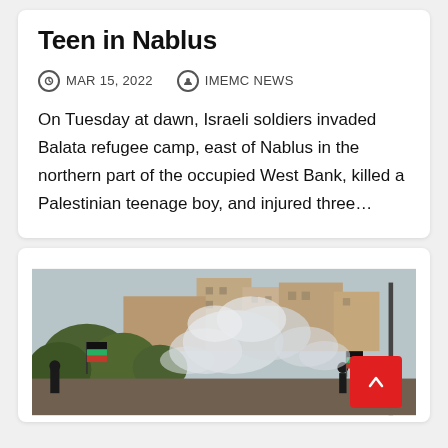Teen in Nablus
MAR 15, 2022   IMEMC NEWS
On Tuesday at dawn, Israeli soldiers invaded Balata refugee camp, east of Nablus in the northern part of the occupied West Bank, killed a Palestinian teenage boy, and injured three…
[Figure (photo): Photograph showing protesters waving Palestinian flags amid tear gas smoke near buildings in an urban hillside setting.]